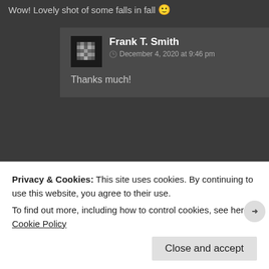Wow! Lovely shot of some falls in fall 🙂
Frank T. Smith — December 4, 2020 at 9:46 pm
Thanks much!
Comments are currently closed.
« Reach to the Sky While hiking on the D&L Trail between Slatington and Palmerton I saw this amazing looking church from a distance
Parking De…
Privacy & Cookies: This site uses cookies. By continuing to use this website, you agree to their use. To find out more, including how to control cookies, see here: Cookie Policy
Close and accept